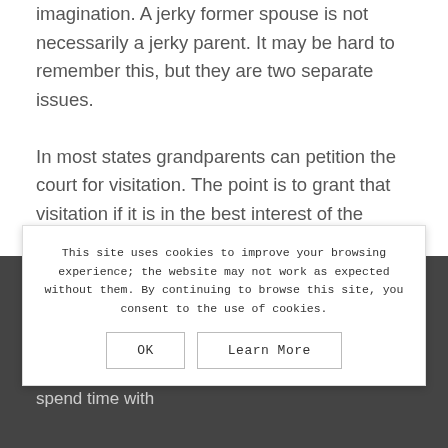imagination. A jerky former spouse is not necessarily a jerky parent. It may be hard to remember this, but they are two separate issues.
In most states grandparents can petition the court for visitation. The point is to grant that visitation if it is in the best interest of the grandchildren.
Father's Rights
Fathers have certain rights under the law. These include the right to love and parent a child and be involved in their lives. A father has the right to spend time with
This site uses cookies to improve your browsing experience; the website may not work as expected without them. By continuing to browse this site, you consent to the use of cookies.